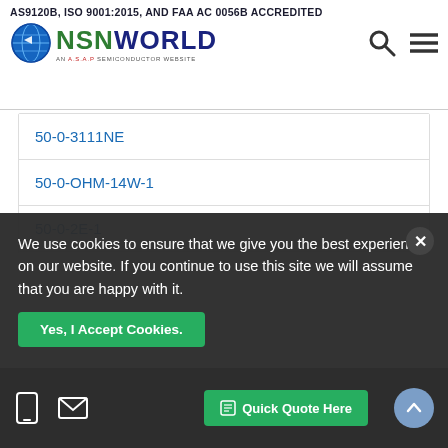AS9120B, ISO 9001:2015, AND FAA AC 0056B ACCREDITED — NSN WORLD (AN A.S.A.P SEMICONDUCTOR WEBSITE)
50-0-3111NE
50-0-OHM-14W-1
50-0-2E-1
50-0-KOHM-50W-10
50-0-OHM-14W-0-5
50-0-50MV
50-0-OHM-3W-20-...
We use cookies to ensure that we give you the best experience on our website. If you continue to use this site we will assume that you are happy with it.
Yes, I Accept Cookies.
Quick Quote Here